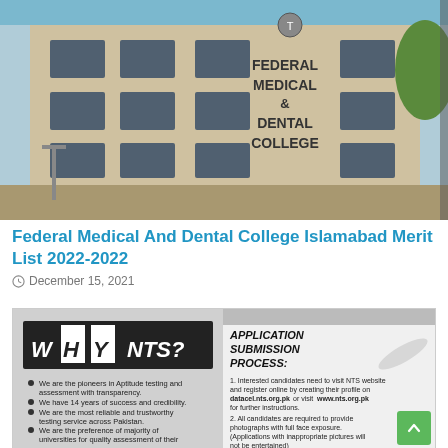[Figure (photo): Photograph of Federal Medical & Dental College building exterior. A multi-storey beige/tan building with multiple windows. The text 'FEDERAL MEDICAL & DENTAL COLLEGE' is prominently displayed on the building facade.]
Federal Medical And Dental College Islamabad Merit List 2022-2022
December 15, 2021
[Figure (screenshot): Black and white image showing a document/advertisement with two sections: Left side shows 'WHY NTS?' with bullet points about NTS being pioneers in Aptitude testing, having 14 years of success, being reliable and trustworthy, and being the preference of universities for quality assessment. Right side shows 'APPLICATION SUBMISSION PROCESS:' with numbered steps about visiting NTS website, registering online, creating profile on datacel.nts.org.pk or www.nts.org.pk, and providing photographs with full face exposure. Applications with inappropriate pictures will not be entertained.]